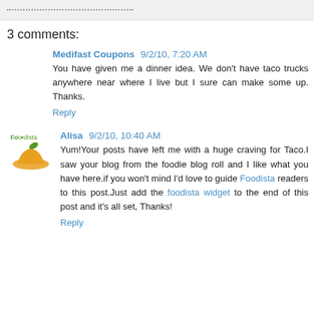3 comments:
Medifast Coupons 9/2/10, 7:20 AM
You have given me a dinner idea. We don't have taco trucks anywhere near where I live but I sure can make some up. Thanks.
Reply
Alisa 9/2/10, 10:40 AM
Yum!Your posts have left me with a huge craving for Taco.I saw your blog from the foodie blog roll and I like what you have here.if you won't mind I'd love to guide Foodista readers to this post.Just add the foodista widget to the end of this post and it's all set, Thanks!
Reply